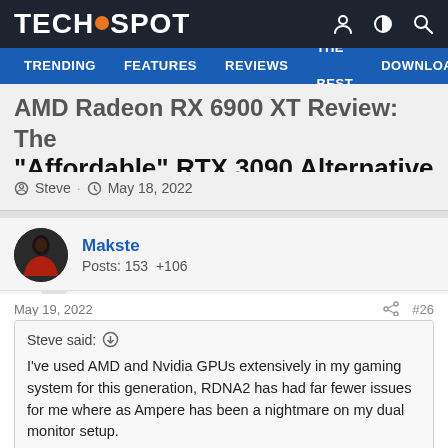TECHSPOT — TRENDING | FEATURES | REVIEWS | THE BEST | DOWNLOAD
AMD Radeon RX 6900 XT Review: The "Affordable" RTX 3090 Alternative
Steve · May 18, 2022
Makste
Posts: 153  +106
May 19, 2022  #26
Steve said: ↑

I've used AMD and Nvidia GPUs extensively in my gaming system for this generation, RDNA2 has had far fewer issues for me where as Ampere has been a nightmare on my dual monitor setup.

Firstly I had more games crashes with the RTX 3090. Nvidia's dual